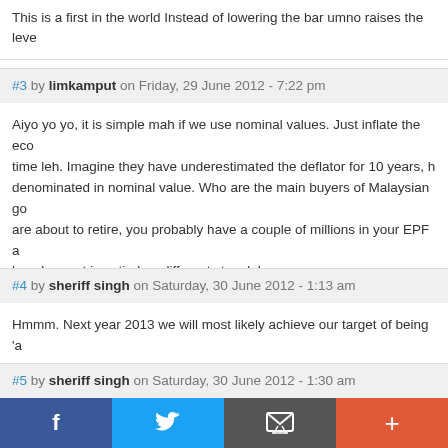This is a first in the world Instead of lowering the bar umno raises the leve
#3 by limkamput on Friday, 29 June 2012 - 7:22 pm
Aiyo yo yo, it is simple mah if we use nominal values. Just inflate the eco
time leh. Imagine they have underestimated the deflator for 10 years, h
denominated in nominal value. Who are the main buyers of Malaysian go
are about to retire, you probably have a couple of millions in your EPF a
lemak or not is entirely a different story lah.
#4 by sheriff singh on Saturday, 30 June 2012 - 1:13 am
Hmmm. Next year 2013 we will most likely achieve our target of being 'a
#5 by sheriff singh on Saturday, 30 June 2012 - 1:30 am
Just add another '0' to our currency and we will become 'godzillionaires